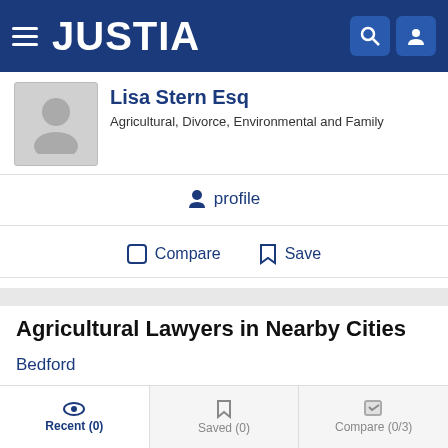JUSTIA
Lisa Stern Esq
Agricultural, Divorce, Environmental and Family
profile
Compare  Save
Agricultural Lawyers in Nearby Cities
Bedford
Windber
Mercersburg
Martinsburg
Recent (0)  Saved (0)  Compare (0/3)